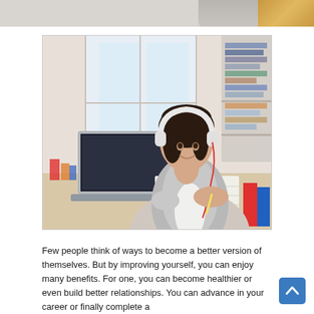[Figure (photo): Young woman with white headphones smiling while writing in a notebook in front of a laptop, studying at a desk with books and school supplies in a bright home setting.]
Few people think of ways to become a better version of themselves. But by improving yourself, you can enjoy many benefits. For one, you can become healthier or even build better relationships. You can advance in your career or finally complete a